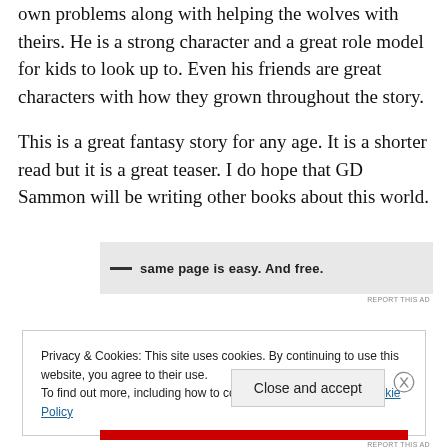own problems along with helping the wolves with theirs. He is a strong character and a great role model for kids to look up to. Even his friends are great characters with how they grown throughout the story.

This is a great fantasy story for any age. It is a shorter read but it is a great teaser. I do hope that GD Sammon will be writing other books about this world.
[Figure (other): Advertisement banner with bold text: same page is easy. And free.]
REPORT THIS AD
Privacy & Cookies: This site uses cookies. By continuing to use this website, you agree to their use.
To find out more, including how to control cookies, see here: Cookie Policy
Close and accept